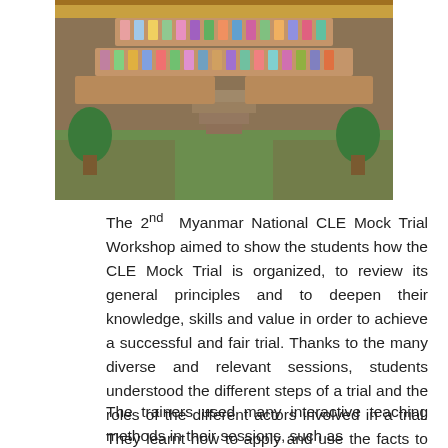[Figure (photo): Group photo of many participants in a large auditorium or hall with stairs and decorative plants, colorful attire.]
The 2nd Myanmar National CLE Mock Trial Workshop aimed to show the students how the CLE Mock Trial is organized, to review its general principles and to deepen their knowledge, skills and value in order to achieve a successful and fair trial. Thanks to the many diverse and relevant sessions, students understood the different steps of a trial and the roles of the different actors involved in a trial. They learnt how to apply and use the facts to the law, how to present a case and the characteristics of an ethical advocate.
The trainers used many interactive teaching methods in their sessions, such as